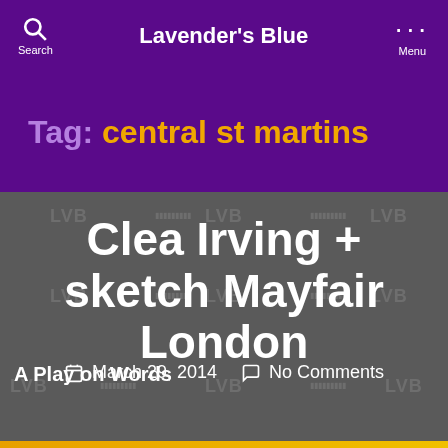Search  Lavender's Blue  Menu
Tag: central st martins
Clea Irving + sketch Mayfair London
March 29, 2014  No Comments
A Play on Words